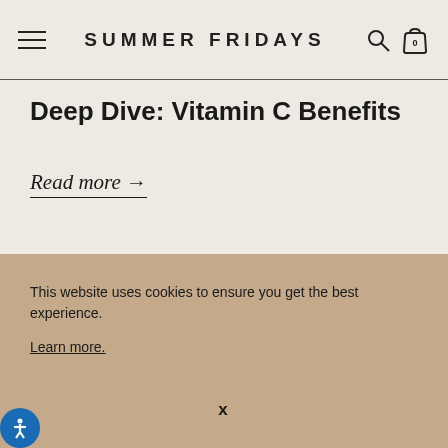SUMMER FRIDAYS
Deep Dive: Vitamin C Benefits
Read more →
This website uses cookies to ensure you get the best experience. Learn more.